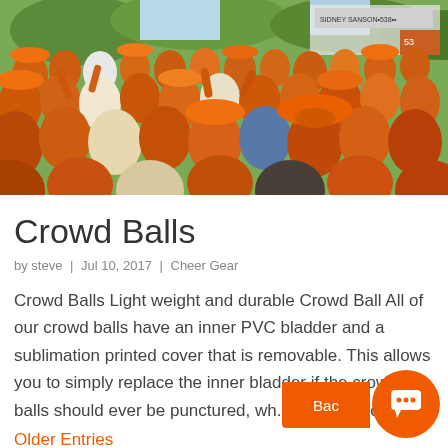[Figure (photo): Crowd of people wearing orange hats, t-shirts and accessories, packed together outdoors at what appears to be a sporting or public event. Trees and billboards visible in background.]
Crowd Balls
by steve | Jul 10, 2017 | Cheer Gear
Crowd Balls Light weight and durable Crowd Ball All of our crowd balls have an inner PVC bladder and a sublimation printed cover that is removable. This allows you to simply replace the inner bladder if the crowd balls should ever be punctured, wh... allowing you...
Older Entries